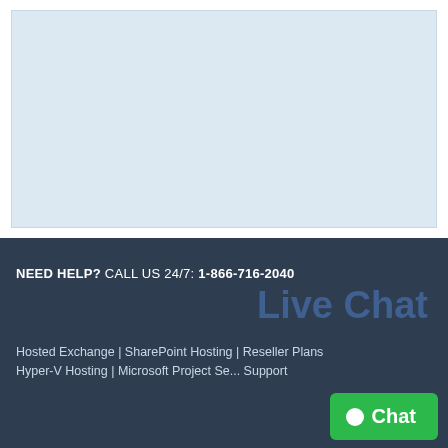[Figure (other): Light blue placeholder box area at the top of the page]
NEED HELP? CALL US 24/7: 1-866-716-2040
Live Chat
Hosted Exchange | SharePoint Hosting | Reseller Plans
Hyper-V Hosting | Microsoft Project Se... Support
Chat